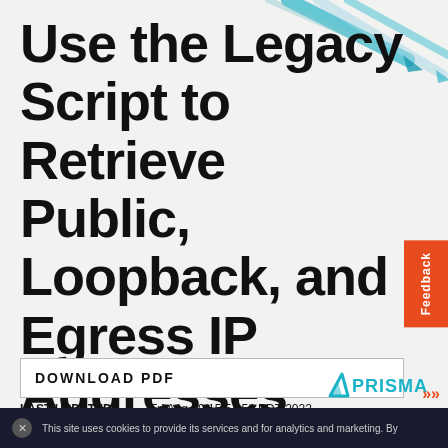[Figure (illustration): Decorative illustration of pencils/markers at top right corner of page]
Use the Legacy Script to Retrieve Public, Loopback, and Egress IP Addresses
DOWNLOAD PDF
LAST UPDATED: Fri Aug 19 15:54:54 PDT 2022
CURRENT VERSION: 3.1 Preferred and Innovation
[Figure (logo): Prisma logo with teal triangle and PRISMA text]
This site uses cookies to provide its services and for analytics and marketing. By...